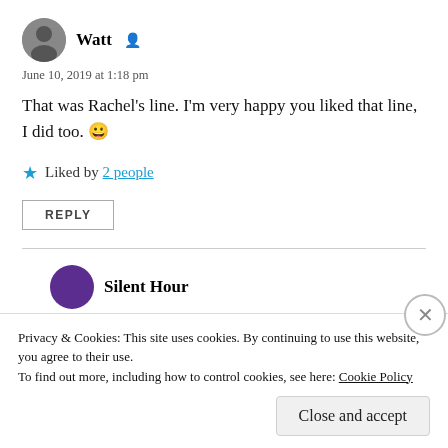Watt
June 10, 2019 at 1:18 pm
That was Rachel’s line. I’m very happy you liked that line, I did too. 😀
Liked by 2 people
REPLY
Silent Hour
June 10, 2019 at 1:38 pm
Privacy & Cookies: This site uses cookies. By continuing to use this website, you agree to their use.
To find out more, including how to control cookies, see here: Cookie Policy
Close and accept